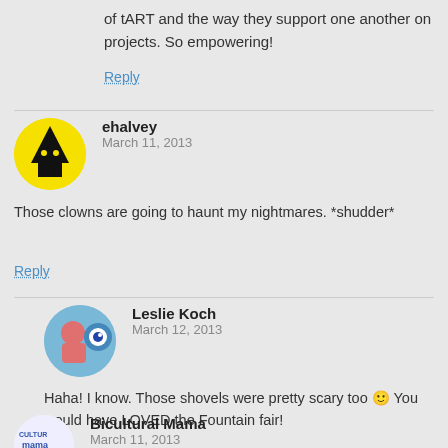of tART and the way they support one another on projects. So empowering!
Reply
ehalvey
March 11, 2013
Those clowns are going to haunt my nightmares. *shudder*
Reply
Leslie Koch
March 12, 2013
Haha! I know. Those shovels were pretty scary too 🙂 You would have LOVED the Fountain fair!
Reply
Bicultural Mama
March 11, 2013